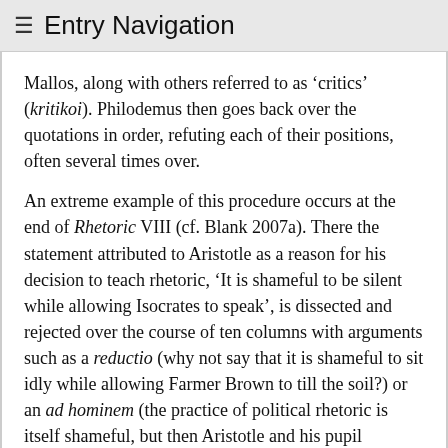≡ Entry Navigation
Mallos, along with others referred to as 'critics' (kritikoi). Philodemus then goes back over the quotations in order, refuting each of their positions, often several times over.
An extreme example of this procedure occurs at the end of Rhetoric VIII (cf. Blank 2007a). There the statement attributed to Aristotle as a reason for his decision to teach rhetoric, 'It is shameful to be silent while allowing Isocrates to speak', is dissected and rejected over the course of ten columns with arguments such as a reductio (why not say that it is shameful to sit idly while allowing Farmer Brown to till the soil?) or an ad hominem (the practice of political rhetoric is itself shameful, but then Aristotle and his pupil Theophrastus not only collected the laws of various places, but also wrote about such low subjects as perfumery and metallurgy).
2.2.4.3 Multivolume works and projects
Philodemus' philosophical projects, and the sweep of his argumentation, are not, however, confined to the level of